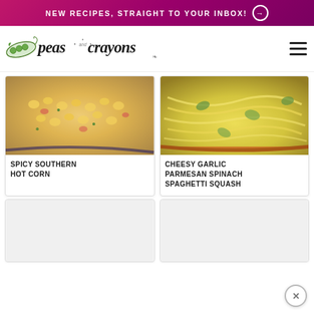NEW RECIPES, STRAIGHT TO YOUR INBOX! →
[Figure (logo): Peas and Crayons blog logo with illustrated pea pod and script/handwritten font text]
[Figure (photo): Close-up photo of Spicy Southern Hot Corn dish with corn kernels, tomatoes, cheese and herbs in a pan]
SPICY SOUTHERN HOT CORN
[Figure (photo): Close-up photo of Cheesy Garlic Parmesan Spinach Spaghetti Squash in an orange baking dish]
CHEESY GARLIC PARMESAN SPINACH SPAGHETTI SQUASH
[Figure (photo): Partially visible recipe card image (loading/blank)]
[Figure (photo): Partially visible recipe card image (loading/blank)]